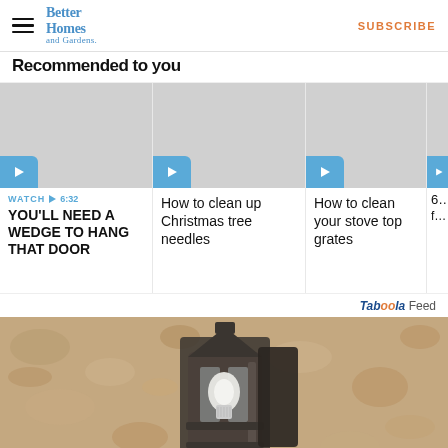Better Homes and Gardens — SUBSCRIBE
Recommended to you
[Figure (screenshot): Video thumbnail cards: 'YOU'LL NEED A WEDGE TO HANG THAT DOOR' (WATCH 6:32), 'How to clean up Christmas tree needles', 'How to clean your stove top grates', partially visible fourth card]
Taboola Feed
[Figure (photo): Outdoor wall lantern/light fixture mounted on textured stucco wall, sepia-toned photograph]